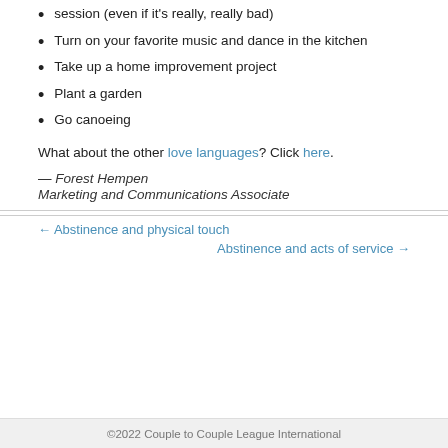session (even if it's really, really bad)
Turn on your favorite music and dance in the kitchen
Take up a home improvement project
Plant a garden
Go canoeing
What about the other love languages? Click here.
— Forest Hempen
Marketing and Communications Associate
← Abstinence and physical touch
Abstinence and acts of service →
©2022 Couple to Couple League International